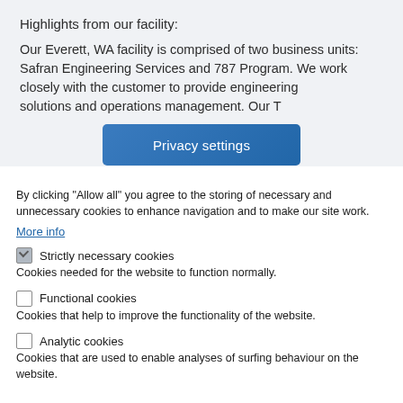Highlights from our facility:
Our Everett, WA facility is comprised of two business units: Safran Engineering Services and 787 Program. We work closely with the customer to provide engineering solutions and operations management. Our T...
Privacy settings
By clicking “Allow all” you agree to the storing of necessary and unnecessary cookies to enhance navigation and to make our site work.
More info
Strictly necessary cookies - Cookies needed for the website to function normally.
Functional cookies - Cookies that help to improve the functionality of the website.
Analytic cookies - Cookies that are used to enable analyses of surfing behaviour on the website.